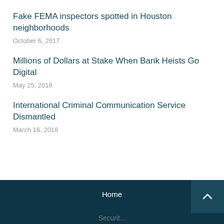Fake FEMA inspectors spotted in Houston neighborhoods
October 6, 2017
Millions of Dollars at Stake When Bank Heists Go Digital
May 25, 2018
International Criminal Communication Service Dismantled
March 16, 2018
Home